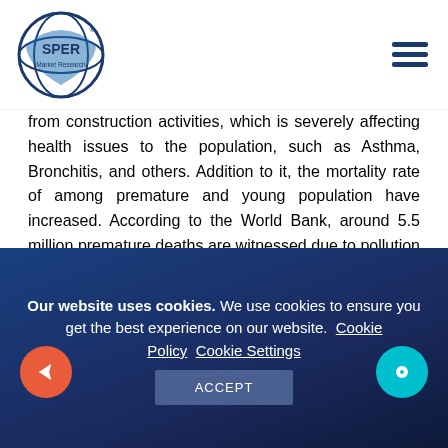SPER Market Research
from construction activities, which is severely affecting health issues to the population, such as Asthma, Bronchitis, and others. Addition to it, the mortality rate of among premature and young population have increased. According to the World Bank, around 5.5 million premature deaths are witnessed due to pollution caused by the construction industry.
Nowadays, due to government stringent rules and regulations concerning pollution level, construction companies are adopting electric or hybrid vehicles to
Our website uses cookies. We use cookies to ensure you get the best experience on our website. Cookie Policy  Cookie Settings ACCEPT